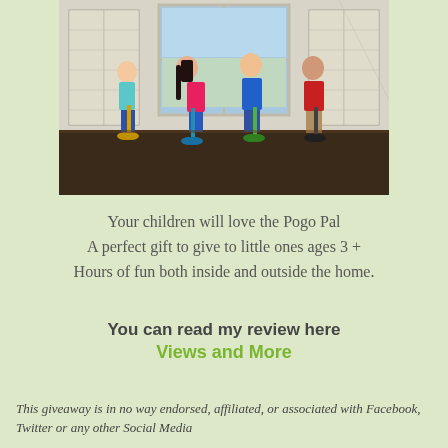[Figure (photo): Four children standing indoors on pogo-style ride-on toys (Pogo Pal), in a bright room with shuttered windows and dark hardwood floors. Children wear colorful clothing.]
Your children will love the Pogo Pal
A perfect gift to give to little ones ages 3 +
Hours of fun both inside and outside the home.
You can read my review here
Views and More
This giveaway is in no way endorsed, affiliated, or associated with Facebook, Twitter or any other Social Media